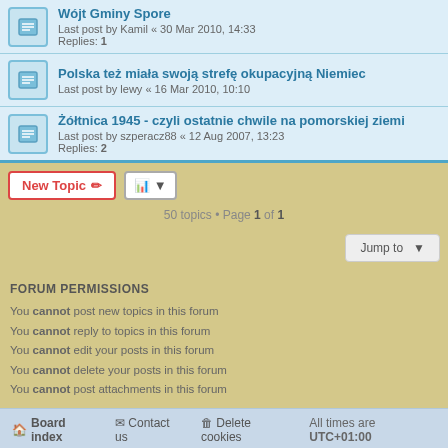Wójt Gminy Spore — Last post by Kamil « 30 Mar 2010, 14:33 — Replies: 1
Polska też miała swoją strefę okupacyjną Niemiec — Last post by lewy « 16 Mar 2010, 10:10
Żółtnica 1945 - czyli ostatnie chwile na pomorskiej ziemi — Last post by szperacz88 « 12 Aug 2007, 13:23 — Replies: 2
50 topics • Page 1 of 1
FORUM PERMISSIONS
You cannot post new topics in this forum
You cannot reply to topics in this forum
You cannot edit your posts in this forum
You cannot delete your posts in this forum
You cannot post attachments in this forum
Board index | Contact us | Delete cookies | All times are UTC+01:00
Powered by phpBB® Forum Software © phpBB Limited | Privacy | Terms